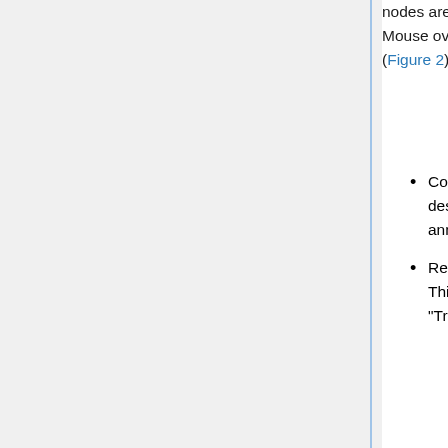nodes are numbered in a defined order starting with the root, AN0. ("AN" = "Ancestor.") Mouse over a node to see its identifier. If you right-click on a node, a menu will appear (Figure 2) with the options to
Collapse node - the entire clade is collapsed to a single node (rectangle). All the descendants are hidden, but the GO term assignments to them are still available for annotation. Right-click the node again and select "Expand node" to re-expand it.
Reroot to node - make the selected node and the root, and hide the rest of the tree. This is useful when the tree is too large. To bring back the entire tree again, use menu "Tree -> Reset Root to Main".